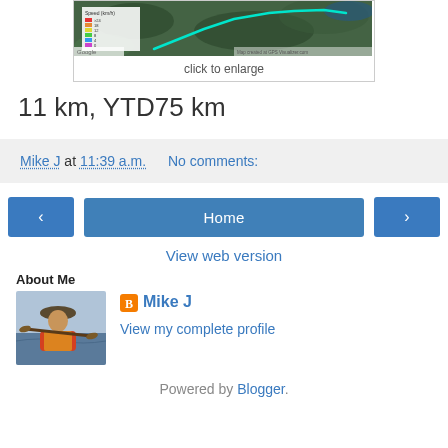[Figure (map): Google Maps satellite view with a GPS track route overlay and speed legend]
click to enlarge
11 km, YTD75 km
Mike J at 11:39 a.m.   No comments:
[Figure (infographic): Navigation buttons: left arrow, Home, right arrow]
View web version
About Me
[Figure (photo): Profile photo of Mike J in kayaking gear]
Mike J
View my complete profile
Powered by Blogger.